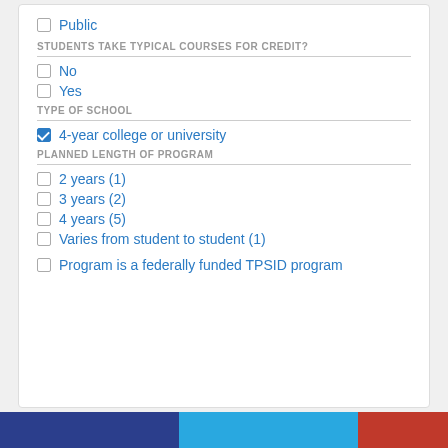Public
STUDENTS TAKE TYPICAL COURSES FOR CREDIT?
No
Yes
TYPE OF SCHOOL
4-year college or university
PLANNED LENGTH OF PROGRAM
2 years (1)
3 years (2)
4 years (5)
Varies from student to student (1)
Program is a federally funded TPSID program